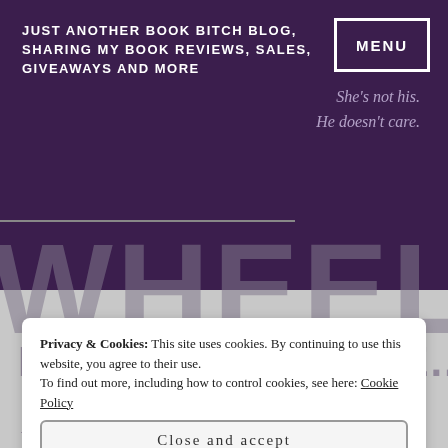JUST ANOTHER BOOK BITCH BLOG, SHARING MY BOOK REVIEWS, SALES, GIVEAWAYS AND MORE
MENU
She's not his. He doesn't care.
WHEELER
REVIEW Wheeler E...
Privacy & Cookies: This site uses cookies. By continuing to use this website, you agree to their use. To find out more, including how to control cookies, see here: Cookie Policy
Close and accept
Dukey